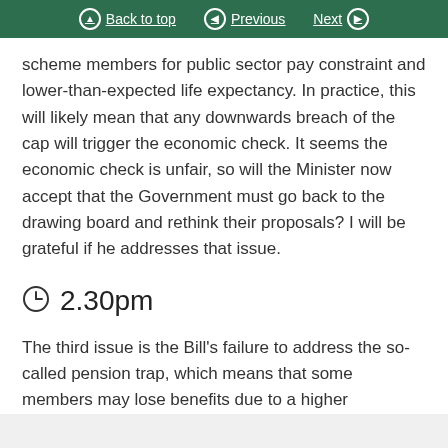Back to top | Previous | Next
scheme members for public sector pay constraint and lower-than-expected life expectancy. In practice, this will likely mean that any downwards breach of the cap will trigger the economic check. It seems the economic check is unfair, so will the Minister now accept that the Government must go back to the drawing board and rethink their proposals? I will be grateful if he addresses that issue.
2.30pm
The third issue is the Bill's failure to address the so-called pension trap, which means that some members may lose benefits due to a higher